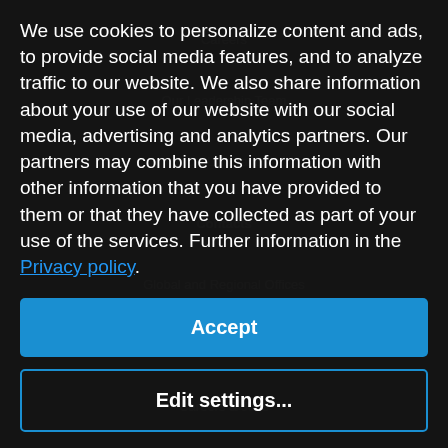We use cookies to personalize content and ads, to provide social media features, and to analyze traffic to our website. We also share information about your use of our website with our social media, advertising and analytics partners. Our partners may combine this information with other information that you have provided to them or that they have collected as part of your use of the services. Further information in the Privacy policy.
Accept
Edit settings...